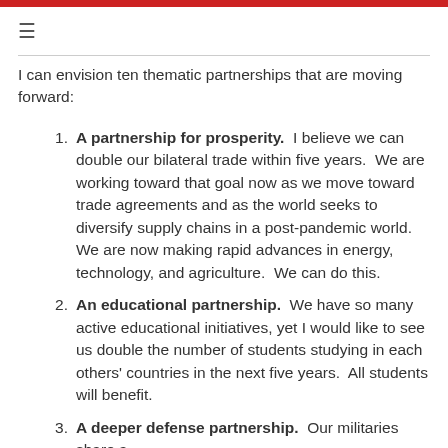≡
I can envision ten thematic partnerships that are moving forward:
A partnership for prosperity. I believe we can double our bilateral trade within five years. We are working toward that goal now as we move toward trade agreements and as the world seeks to diversify supply chains in a post-pandemic world. We are now making rapid advances in energy, technology, and agriculture. We can do this.
An educational partnership. We have so many active educational initiatives, yet I would like to see us double the number of students studying in each others' countries in the next five years. All students will benefit.
A deeper defense partnership. Our militaries share a